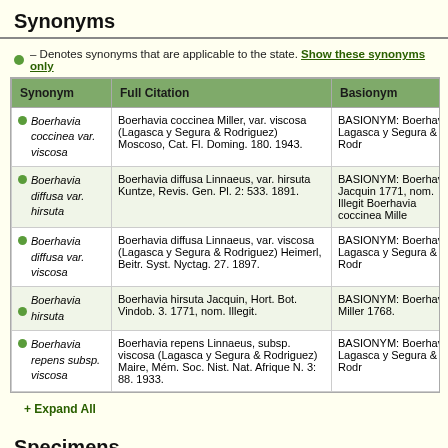Synonyms
● – Denotes synonyms that are applicable to the state. Show these synonyms only
| Synonym | Full Citation | Basionym |
| --- | --- | --- |
| Boerhavia coccinea var. viscosa | Boerhavia coccinea Miller, var. viscosa (Lagasca y Segura & Rodriguez) Moscoso, Cat. Fl. Doming. 180. 1943. | BASIONYM: Boerhavia Lagasca y Segura & Rodr |
| Boerhavia diffusa var. hirsuta | Boerhavia diffusa Linnaeus, var. hirsuta Kuntze, Revis. Gen. Pl. 2: 533. 1891. | BASIONYM: Boerhavia Jacquin 1771, nom. Illegit Boerhavia coccinea Mille |
| Boerhavia diffusa var. viscosa | Boerhavia diffusa Linnaeus, var. viscosa (Lagasca y Segura & Rodriguez) Heimerl, Beitr. Syst. Nyctag. 27. 1897. | BASIONYM: Boerhavia Lagasca y Segura & Rodr |
| Boerhavia hirsuta | Boerhavia hirsuta Jacquin, Hort. Bot. Vindob. 3. 1771, nom. Illegit. | BASIONYM: Boerhavia Miller 1768. |
| Boerhavia repens subsp. viscosa | Boerhavia repens Linnaeus, subsp. viscosa (Lagasca y Segura & Rodriguez) Maire, Mém. Soc. Nist. Nat. Afrique N. 3: 88. 1933. | BASIONYM: Boerhavia Lagasca y Segura & Rodr |
+ Expand All
Specimens